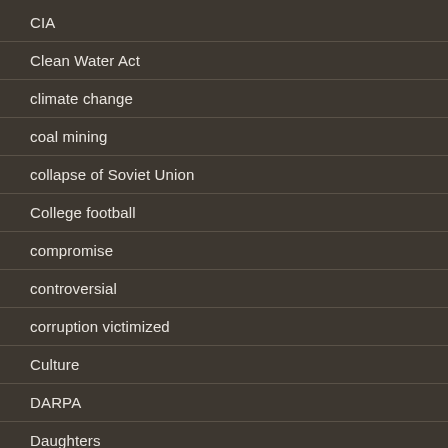CIA
Clean Water Act
climate change
coal mining
collapse of Soviet Union
College football
compromise
controversial
corruption victimized
Culture
DARPA
Daughters